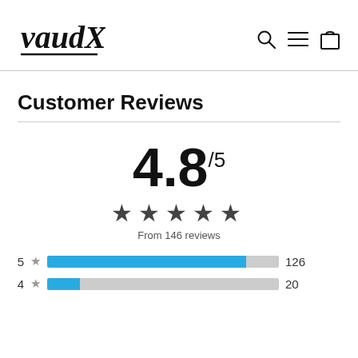[Figure (logo): VaudX brand logo in bold italic script with underline]
[Figure (infographic): Navigation icons: search (magnifying glass), menu (hamburger), cart (bag)]
Customer Reviews
4.8/5
[Figure (infographic): 5 filled star rating icons]
From 146 reviews
[Figure (bar-chart): Rating distribution]